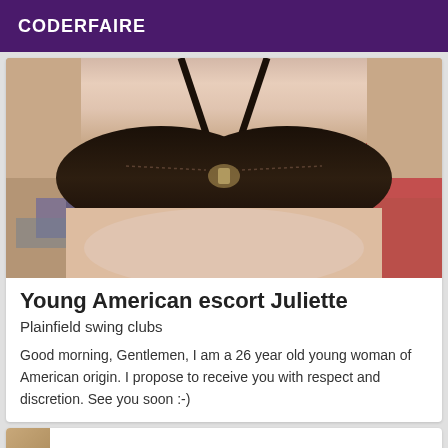CODERFAIRE
[Figure (photo): Close-up photo of a woman wearing a dark black bra, cropped at torso level, with a messy room background visible.]
Young American escort Juliette
Plainfield swing clubs
Good morning, Gentlemen, I am a 26 year old young woman of American origin. I propose to receive you with respect and discretion. See you soon :-)